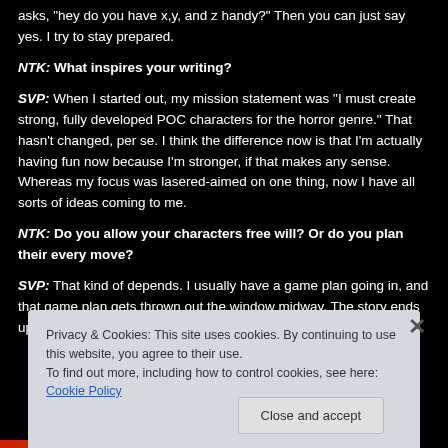asks, "hey do you have x,y, and z handy?" Then you can just say yes. I try to stay prepared.
NTK: What inspires your writing?
SVP: When I started out, my mission statement was “I must create strong, fully developed POC characters for the horror genre.” That hasn’t changed, per se. I think the difference now is that I’m actually having fun now because I’m stronger, if that makes any sense. Whereas my focus was lasered-aimed on one thing, now I have all sorts of ideas coming to me.
NTK: Do you allow your characters free will? Or do you plan their every move?
SVP: That kind of depends. I usually have a game plan going in, and that game plan gets thrown out the window midway. The story ends up needing more. The
Privacy & Cookies: This site uses cookies. By continuing to use this website, you agree to their use.
To find out more, including how to control cookies, see here: Cookie Policy